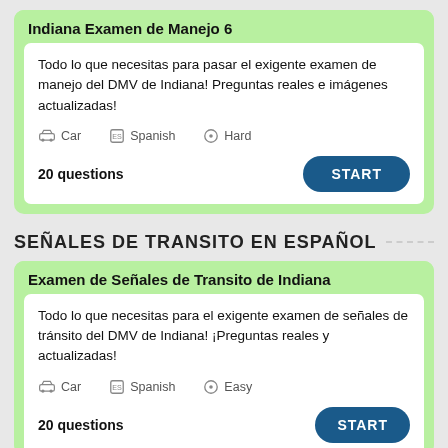Indiana Examen de Manejo 6
Todo lo que necesitas para pasar el exigente examen de manejo del DMV de Indiana! Preguntas reales e imágenes actualizadas!
Car  Spanish  Hard
20 questions
SEÑALES DE TRANSITO EN ESPAÑOL
Examen de Señales de Transito de Indiana
Todo lo que necesitas para el exigente examen de señales de tránsito del DMV de Indiana! ¡Preguntas reales y actualizadas!
Car  Spanish  Easy
20 questions